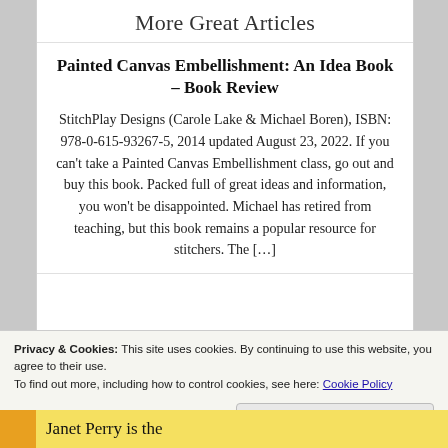More Great Articles
Painted Canvas Embellishment: An Idea Book – Book Review
StitchPlay Designs (Carole Lake & Michael Boren), ISBN: 978-0-615-93267-5, 2014 updated August 23, 2022. If you can't take a Painted Canvas Embellishment class, go out and buy this book. Packed full of great ideas and information, you won't be disappointed. Michael has retired from teaching, but this book remains a popular resource for stitchers. The […]
Privacy & Cookies: This site uses cookies. By continuing to use this website, you agree to their use.
To find out more, including how to control cookies, see here: Cookie Policy
Close and accept
Janet Perry is the